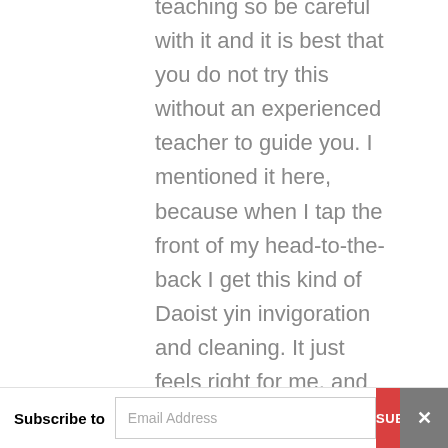teaching so be careful with it and it is best that you do not try this without an experienced teacher to guide you. I mentioned it here, because when I tap the front of my head-to-the-back I get this kind of Daoist yin invigoration and cleaning. It just feels right for me, and much better than moving from back of head to front.
Subscribe to  Email Address  SUBSCRIB